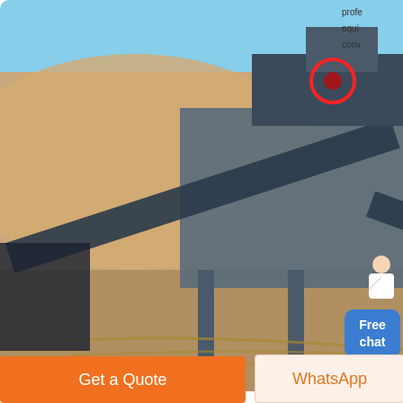[Figure (photo): Industrial stone crushing and screening plant in a desert/arid environment with conveyor belts, steel structure, and machinery on sandy terrain under blue sky]
profe
equi
conv
[Figure (photo): Customer service representative figure (woman in white) with Free chat blue button]
Related Posts
crusher machine dealer in nigeria stone crusher machine
belt conveyor high frequency screen vibrating feeder
cheap crusher machine exporter for sale
germany second manufactured
Get a Quote
WhatsApp